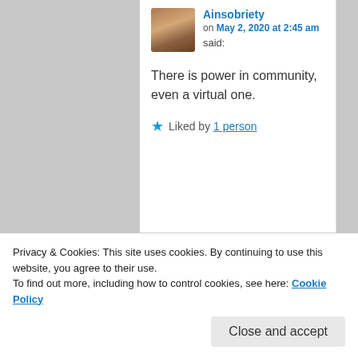Ainsobriety on May 2, 2020 at 2:45 am said:
There is power in community, even a virtual one.
Liked by 1 person
limetwiste on May 2, 2020 at 1:13 pm said:
Privacy & Cookies: This site uses cookies. By continuing to use this website, you agree to their use. To find out more, including how to control cookies, see here: Cookie Policy
Close and accept